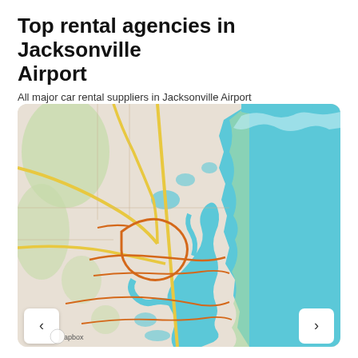Top rental agencies in Jacksonville Airport
All major car rental suppliers in Jacksonville Airport
[Figure (map): Map of Jacksonville, Florida area showing major roads, highways, waterways, and coastline along the Atlantic Ocean. Orange and yellow road lines cross the urban area, with blue water bodies including the St. Johns River and coastal inlets. Navigation arrows (< and >) are shown at bottom left and right. Mapbox credit at bottom left.]